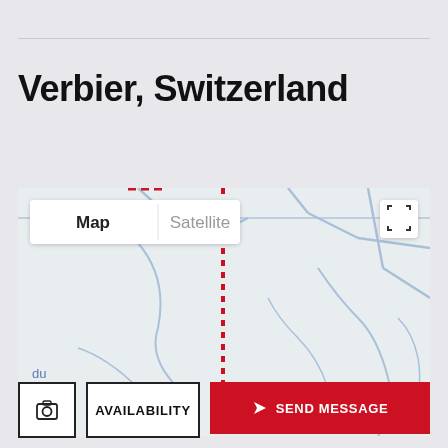Verbier, Switzerland
[Figure (map): Google Maps style map showing Verbier, Switzerland area with road/path lines in blue and a red dotted vertical path. Map/Satellite toggle buttons visible at top left. Fullscreen button at top right. Partial text 'du' and 'on' visible at lower left.]
AVAILABILITY
SEND MESSAGE